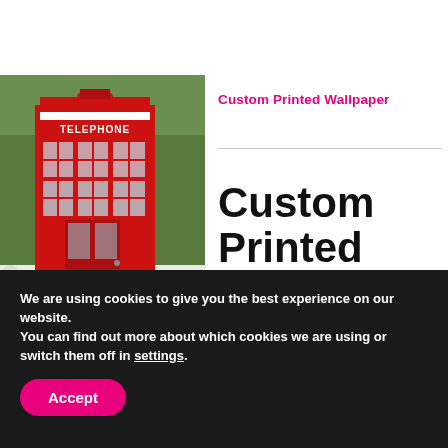[Figure (photo): Photo of a red British telephone box (phone booth) with green trees in the background, left side of page]
Custom Printed Wallpaper
Custom Printed Wallpaper
We are using cookies to give you the best experience on our website.
You can find out more about which cookies we are using or switch them off in settings.
Accept